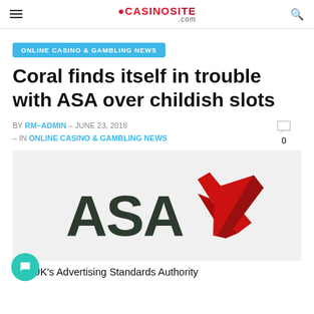CASINOSITE.com
ONLINE CASINO & GAMBLING NEWS
Coral finds itself in trouble with ASA over childish slots
BY RM-ADMIN - JUNE 23, 2018 - IN ONLINE CASINO & GAMBLING NEWS
[Figure (logo): ASA (Advertising Standards Authority) logo with large red checkmark]
The UK's Advertising Standards Authority